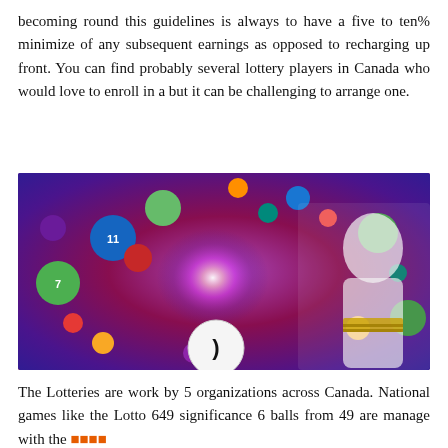becoming round this guidelines is always to have a five to ten% minimize of any subsequent earnings as opposed to recharging up front. You can find probably several lottery players in Canada who would love to enroll in a but it can be challenging to arrange one.
[Figure (photo): A woman in a white dress standing among colorful lottery balls flying in a bright magenta/purple background with a glowing center light effect.]
The Lotteries are work by 5 organizations across Canada. National games like the Lotto 649 significance 6 balls from 49 are manage with the [link text in orange characters]